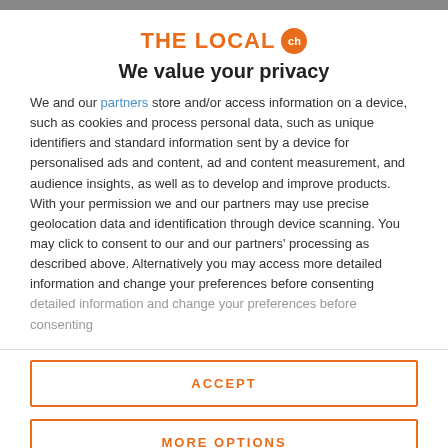[Figure (logo): THE LOCAL ch logo in orange with a circle badge]
We value your privacy
We and our partners store and/or access information on a device, such as cookies and process personal data, such as unique identifiers and standard information sent by a device for personalised ads and content, ad and content measurement, and audience insights, as well as to develop and improve products. With your permission we and our partners may use precise geolocation data and identification through device scanning. You may click to consent to our and our partners' processing as described above. Alternatively you may access more detailed information and change your preferences before consenting
ACCEPT
MORE OPTIONS
Federer gets votes in Swiss...